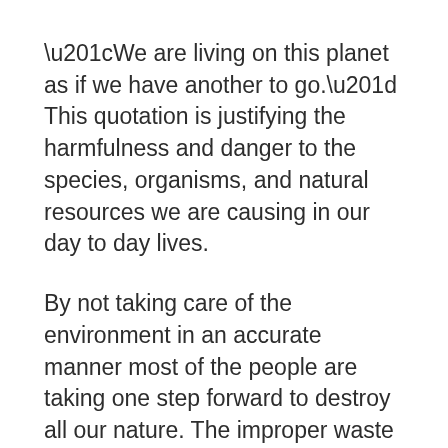“We are living on this planet as if we have another to go.” This quotation is justifying the harmfulness and danger to the species, organisms, and natural resources we are causing in our day to day lives.
By not taking care of the environment in an accurate manner most of the people are taking one step forward to destroy all our nature. The improper waste management and excessive use of natural resources is promoting death, destruction and loss. To save this, we as responsible citizens should take steps for promoting a healthier environment.
In today’s time the developed countries like